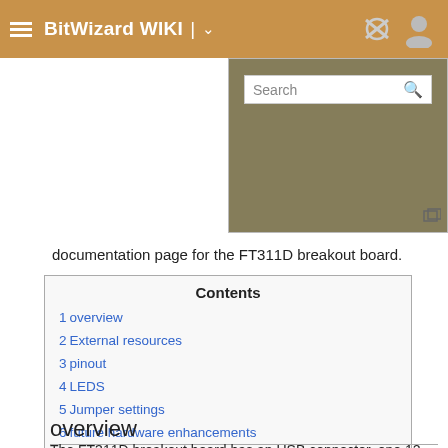BitWizard WIKI
[Figure (screenshot): Search box panel on a dark khaki/olive background]
documentation page for the FT311D breakout board.
| Contents |
| --- |
| 1  overview |
| 2  External resources |
| 3  pinout |
| 4  LEDS |
| 5  Jumper settings |
| 6  future hardware enhancements |
| 7  Changelog |
overview
The FT311D breakout board has an USB connector, one 12-pin